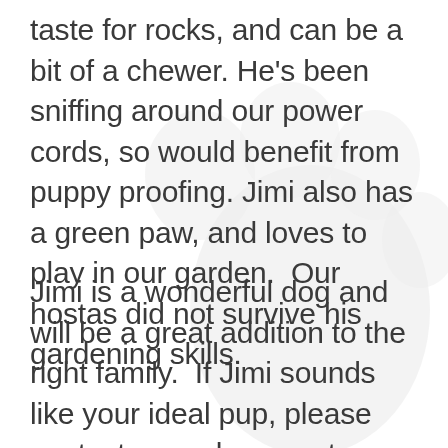taste for rocks, and can be a bit of a chewer. He's been sniffing around our power cords, so would benefit from puppy proofing. Jimi also has a green paw, and loves to play in our garden.  Our hostas did not survive his gardening skills.
Jimi is a wonderful dog and will be a great addition to the right family.  If Jimi sounds like your ideal pup, please contact your placement advisor.